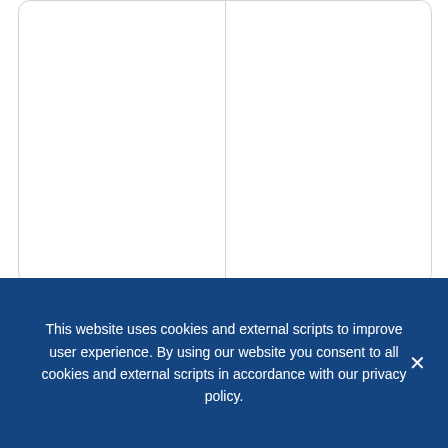[Figure (screenshot): Partial Twitter/social media post card with a white image area on the right side, rounded border, cropped at top]
EU_ScienceHub and 9 others
[Figure (other): Comment icon (speech bubble) and heart/like icon with count 17]
MINQ   @MINQUW20   · Dec 20, 2021
This website uses cookies and external scripts to improve user experience. By using our website you consent to all cookies and external scripts in accordance with our privacy policy.